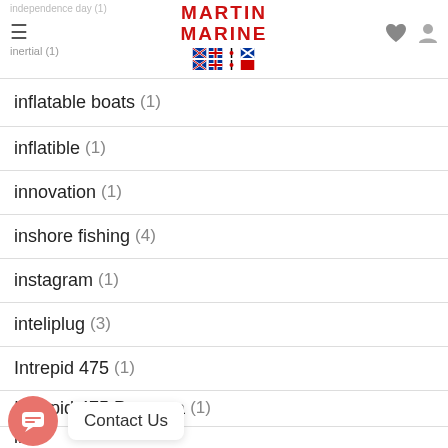independence day (1) | inertial (1) | MARTIN MARINE
inflatable boats (1)
inflatible (1)
innovation (1)
inshore fishing (4)
instagram (1)
inteliplug (3)
Intrepid 475 (1)
Intrepid 475 Panacea (1)
in... (1)
islamorada (1)
[Figure (infographic): Chat bubble button with Contact Us tooltip overlay]